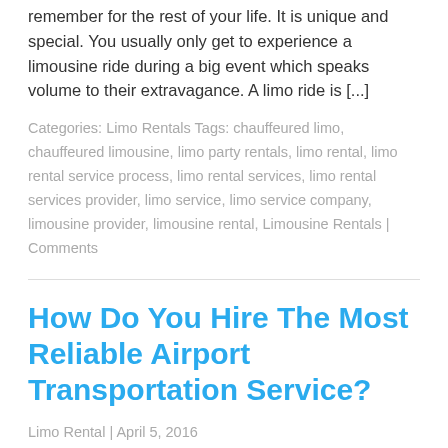remember for the rest of your life. It is unique and special. You usually only get to experience a limousine ride during a big event which speaks volume to their extravagance. A limo ride is [...]
Categories: Limo Rentals Tags: chauffeured limo, chauffeured limousine, limo party rentals, limo rental, limo rental service process, limo rental services, limo rental services provider, limo service, limo service company, limousine provider, limousine rental, Limousine Rentals | Comments
How Do You Hire The Most Reliable Airport Transportation Service?
Limo Rental | April 5, 2016
Going for a long trip is always been tiring and stressful